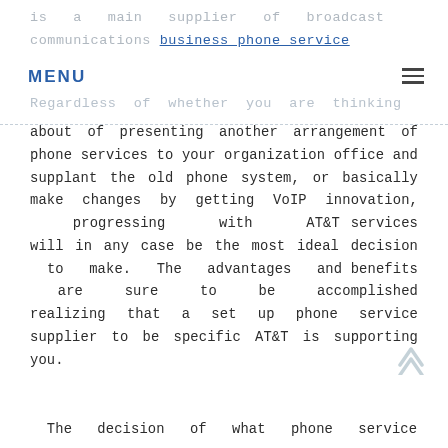is a main supplier of broadcast communications business phone service Regardless of whether you are thinking
about of presenting another arrangement of phone services to your organization office and supplant the old phone system, or basically make changes by getting VoIP innovation, progressing with AT&T services will in any case be the most ideal decision to make. The advantages and benefits are sure to be accomplished realizing that a set up phone service supplier to be specific AT&T is supporting you.
The decision of what phone service